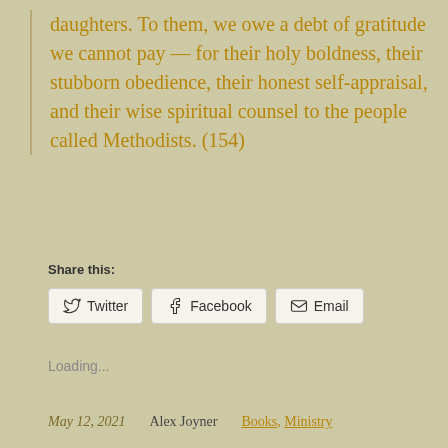daughters. To them, we owe a debt of gratitude we cannot pay — for their holy boldness, their stubborn obedience, their honest self-appraisal, and their wise spiritual counsel to the people called Methodists. (154)
Share this:
Twitter  Facebook  Email
Loading...
May 12, 2021   Alex Joyner   Books, Ministry